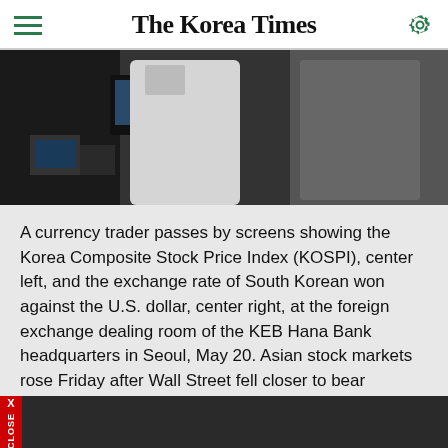The Korea Times
[Figure (photo): Currency trading room with traders in front of screens showing KOSPI and exchange rates at KEB Hana Bank]
A currency trader passes by screens showing the Korea Composite Stock Price Index (KOSPI), center left, and the exchange rate of South Korean won against the U.S. dollar, center right, at the foreign exchange dealing room of the KEB Hana Bank headquarters in Seoul, May 20. Asian stock markets rose Friday after Wall Street fell closer to bear territory, China cut a key interest rate and Japanese inflation edged higher. AP-Yonhap
Recession fears